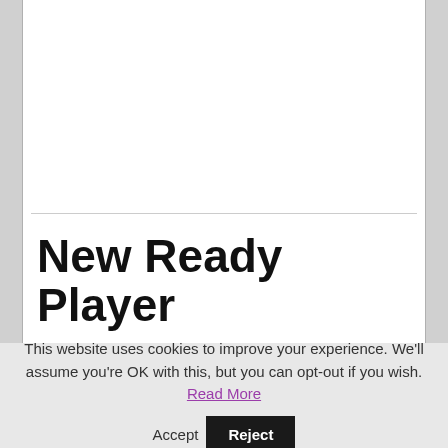New Ready Player
This website uses cookies to improve your experience. We'll assume you're OK with this, but you can opt-out if you wish. Read More Accept Reject